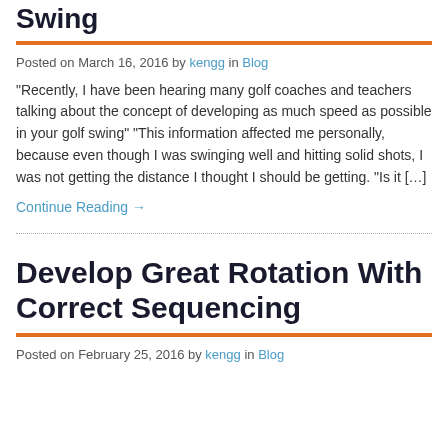Swing
Posted on March 16, 2016 by kengg in Blog
“Recently, I have been hearing many golf coaches and teachers talking about the concept of developing as much speed as possible in your golf swing” “This information affected me personally, because even though I was swinging well and hitting solid shots, I was not getting the distance I thought I should be getting. “Is it […]
Continue Reading →
Develop Great Rotation With Correct Sequencing
Posted on February 25, 2016 by kengg in Blog